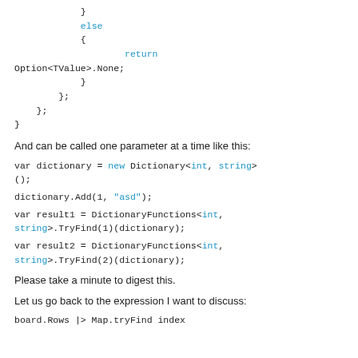}
            else
            {
                    return Option<TValue>.None;
            }
        };
    };
}
And can be called one parameter at a time like this:
var dictionary = new Dictionary<int, string>();
dictionary.Add(1, "asd");
var result1 = DictionaryFunctions<int, string>.TryFind(1)(dictionary);
var result2 = DictionaryFunctions<int, string>.TryFind(2)(dictionary);
Please take a minute to digest this.
Let us go back to the expression I want to discuss:
board.Rows |> Map.tryFind index